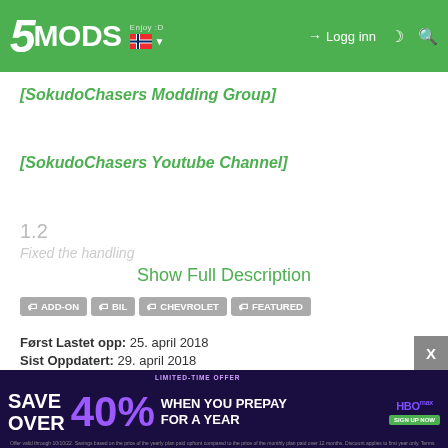5MODS — Logg inn
[SokudoChasers Modding Group]
[SokudoChasers Youtube Channel]
1.2
Fixed the handling
Show Full Description
ADD-ON
BIL
CHEVROLET
FEATURED
Først Lastet opp: 25. april 2018
Sist Oppdatert: 29. april 2018
Last Downloaded: 4 hours ago
[Figure (infographic): HBO Max advertisement banner — SAVE OVER 40% WHEN YOU PREPAY FOR A YEAR]